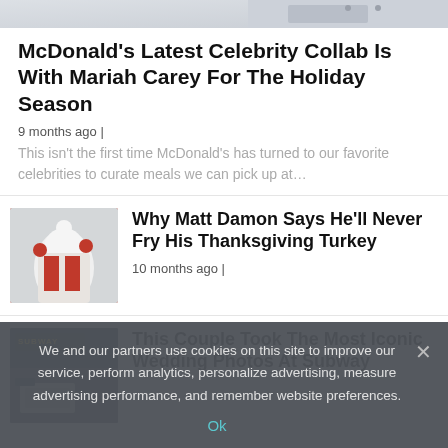[Figure (photo): Partial image of clothing/shirt at top of page]
McDonald’s Latest Celebrity Collab Is With Mariah Carey For The Holiday Season
9 months ago |
This isn’t the first time McDonald’s has turned to our favorite celebrities to curate meals we can pick up at…
[Figure (photo): Person in chef outfit with red ornaments]
Why Matt Damon Says He’ll Never Fry His Thanksgiving Turkey
10 months ago |
[Figure (photo): Subway restaurant exterior with car in front]
This Couple Took The Most Iconic Wedding Photos At Subway
We and our partners use cookies on this site to improve our service, perform analytics, personalize advertising, measure advertising performance, and remember website preferences.
Ok